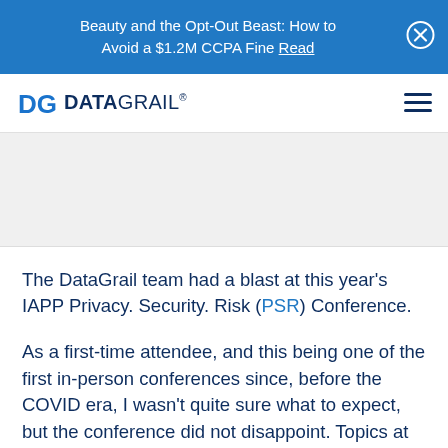Beauty and the Opt-Out Beast: How to Avoid a $1.2M CCPA Fine Read
[Figure (logo): DataGrail logo with DG icon and hamburger menu icon]
[Figure (photo): Image placeholder area (gray/white space)]
The DataGrail team had a blast at this year's IAPP Privacy. Security. Risk (PSR) Conference.
As a first-time attendee, and this being one of the first in-person conferences since, before the COVID era, I wasn't quite sure what to expect, but the conference did not disappoint. Topics at the